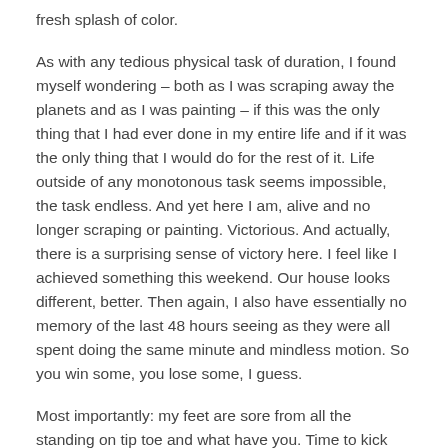fresh splash of color.
As with any tedious physical task of duration, I found myself wondering – both as I was scraping away the planets and as I was painting – if this was the only thing that I had ever done in my entire life and if it was the only thing that I would do for the rest of it. Life outside of any monotonous task seems impossible, the task endless. And yet here I am, alive and no longer scraping or painting. Victorious. And actually, there is a surprising sense of victory here. I feel like I achieved something this weekend. Our house looks different, better. Then again, I also have essentially no memory of the last 48 hours seeing as they were all spent doing the same minute and mindless motion. So you win some, you lose some, I guess.
Most importantly: my feet are sore from all the standing on tip toe and what have you. Time to kick 'em up. I'm looking forward to not painting again for some time.